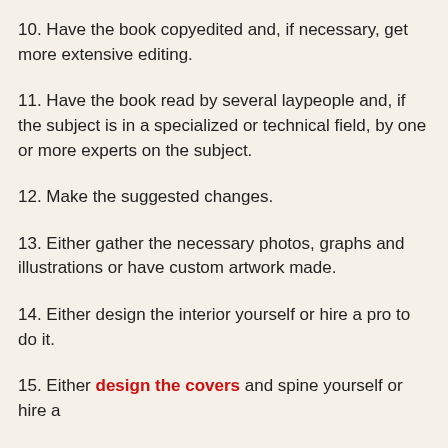10. Have the book copyedited and, if necessary, get more extensive editing.
11. Have the book read by several laypeople and, if the subject is in a specialized or technical field, by one or more experts on the subject.
12. Make the suggested changes.
13. Either gather the necessary photos, graphs and illustrations or have custom artwork made.
14. Either design the interior yourself or hire a pro to do it.
15. Either design the covers and spine yourself or hire a